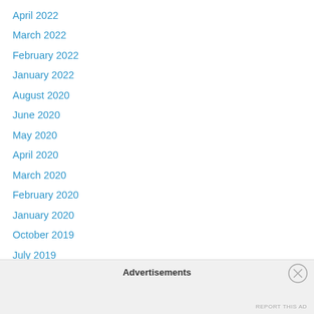April 2022
March 2022
February 2022
January 2022
August 2020
June 2020
May 2020
April 2020
March 2020
February 2020
January 2020
October 2019
July 2019
June 2019
May 2018
February 2018
Advertisements
REPORT THIS AD